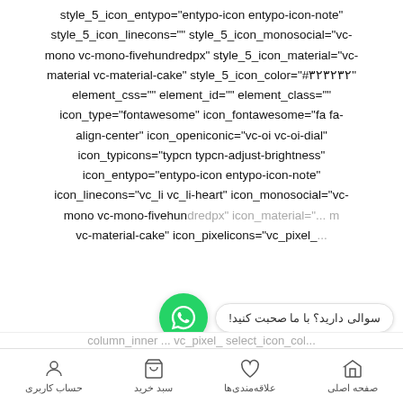style_5_icon_entypo="entypo-icon entypo-icon-note" style_5_icon_linecons="" style_5_icon_monosocial="vc-mono vc-mono-fivehundredpx" style_5_icon_material="vc-material vc-material-cake" style_5_icon_color="#323232" element_css="" element_id="" element_class="" icon_type="fontawesome" icon_fontawesome="fa fa-align-center" icon_openiconic="vc-oi vc-oi-dial" icon_typicons="typcn typcn-adjust-brightness" icon_entypo="entypo-icon entypo-icon-note" icon_linecons="vc_li vc_li-heart" icon_monosocial="vc-mono vc-mono-fivehundredpx" icon_material="... m vc-material-cake" icon_pixelicons="vc_pixel_...
سوالی دارید؟ با ما صحبت کنید!
column_inner ... vc_pixel_ select_icon_col...
صفحه اصلی | علاقه‌مندی‌ها | سبد خرید | حساب کاربری